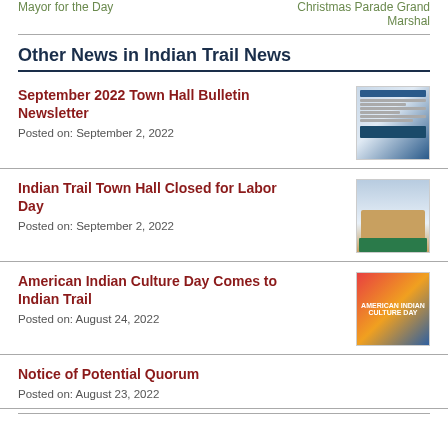Mayor for the Day | Christmas Parade Grand Marshal
Other News in Indian Trail News
September 2022 Town Hall Bulletin Newsletter
Posted on: September 2, 2022
Indian Trail Town Hall Closed for Labor Day
Posted on: September 2, 2022
American Indian Culture Day Comes to Indian Trail
Posted on: August 24, 2022
Notice of Potential Quorum
Posted on: August 23, 2022